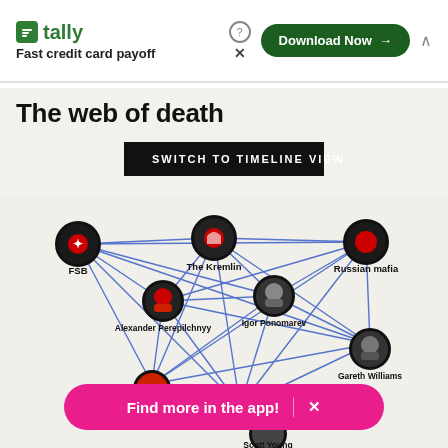[Figure (infographic): Tally app advertisement banner with logo, tagline 'Fast credit card payoff', green Download Now button, help icon, close X, and collapse chevron]
The web of death
[Figure (other): Black button with white uppercase text: SWITCH TO TIMELINE VIEW]
[Figure (network-graph): Network connection diagram showing nodes: FSB (top-left, black/red icon), The Kremlin (top-center, red/white icon), Russian mafia (top-right, red icon), Alexander Perepilchnyy (center-left), Igor Ponomarev (center-right), Gareth Williams (right), Daniel McGrory (bottom-left), Scott Young (bottom-center). Blue lines connect all nodes to each other in a web pattern.]
[Figure (infographic): Pink pill-shaped banner reading 'Find more in the app!' with a vertical divider and X close button]